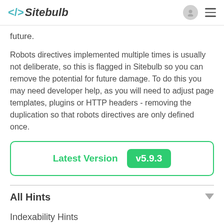</> Sitebulb
future.
Robots directives implemented multiple times is usually not deliberate, so this is flagged in Sitebulb so you can remove the potential for future damage. To do this you may need developer help, as you will need to adjust page templates, plugins or HTTP headers - removing the duplication so that robots directives are only defined once.
[Figure (other): Latest Version v5.9.3 badge inside a green-bordered rounded rectangle]
All Hints
Indexability Hints